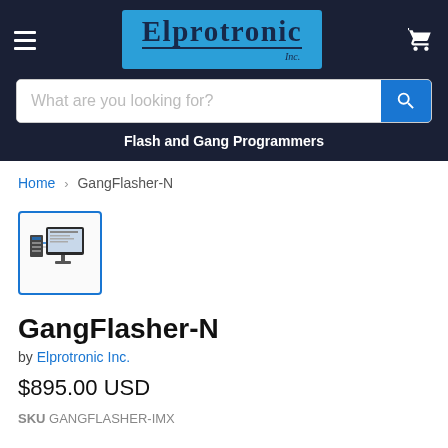Elprotronic Inc. — Flash and Gang Programmers
What are you looking for?
Flash and Gang Programmers
Home › GangFlasher-N
[Figure (photo): Small thumbnail image of the GangFlasher-N product showing a computer monitor and hardware components]
GangFlasher-N
by Elprotronic Inc.
$895.00 USD
SKU GANGFLASHER-IMX